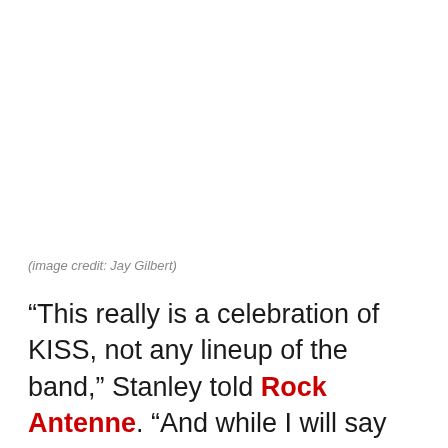(image credit: Jay Gilbert)
“This really is a celebration of KISS, not any lineup of the band,” Stanley told Rock Antenne. “And while I will say that KISS wouldn’t have existed without Ace and Peter in the beginning, I can also say that KISS wouldn’t exist with Ace and Peter in the band